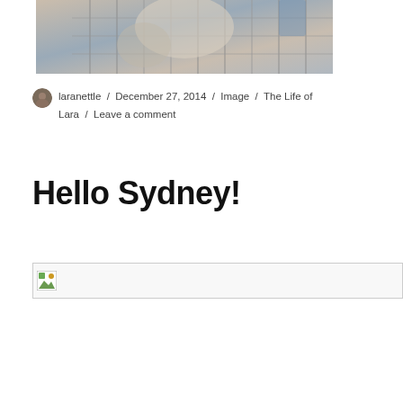[Figure (photo): Top portion of a photo showing a bird (likely a parrot or parakeet) in a wire cage, with beige/grey tones]
laranettle / December 27, 2014 / Image / The Life of Lara / Leave a comment
Hello Sydney!
[Figure (photo): Broken/unloaded image placeholder]